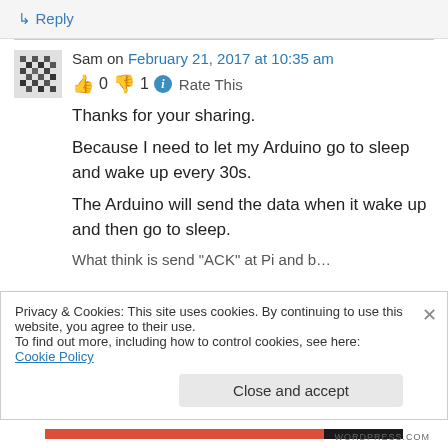↳ Reply
Sam on February 21, 2017 at 10:35 am
👍 0 👎 1 ℹ Rate This
Thanks for your sharing.
Because I need to let my Arduino go to sleep and wake up every 30s.
The Arduino will send the data when it wake up and then go to sleep.
What think is send "ACK" at Pi and based it...
Privacy & Cookies: This site uses cookies. By continuing to use this website, you agree to their use.
To find out more, including how to control cookies, see here: Cookie Policy
Close and accept